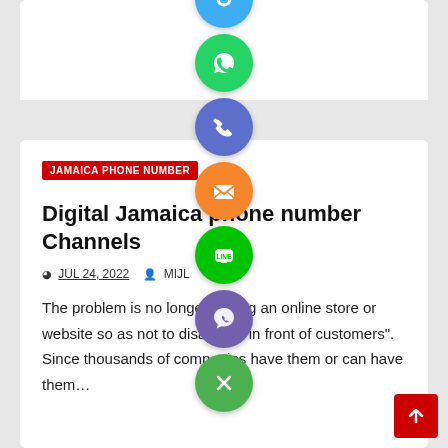[Figure (infographic): Social sharing buttons column: blue Twitter/share button (partially visible at top), green WhatsApp button, blue-purple phone button, orange email/envelope button, green LINE button, purple Viber button, green X/close button]
JAMAICA PHONE NUMBER
Digital Jamaica phone number Channels
JUL 24, 2022   MIJL
The problem is no longer having an online store or website so as not to disappear in front of customers". Since thousands of companies have them or can have them…